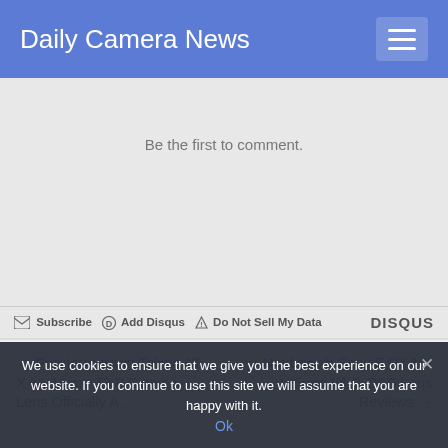Daily Camera News
Be the first to comment.
Subscribe  Add Disqus  Do Not Sell My Data  DISQUS
← Previous post: Tokina AT-X 11-16mm T3.0 Cinema Lens Officially An...
Next post: Sony E PZ 18-105mm f/4 G OSS Lens Reviews →
We use cookies to ensure that we give you the best experience on our website. If you continue to use this site we will assume that you are happy with it.
Ok